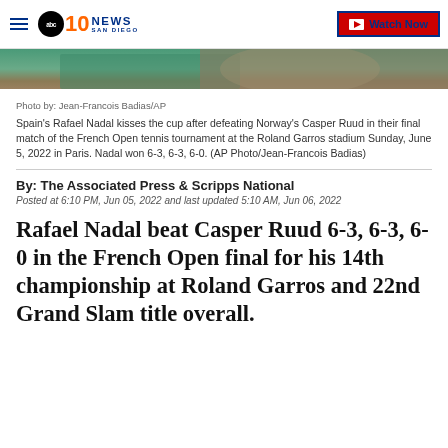10 NEWS San Diego — Watch Now
[Figure (photo): Partial photo of Rafael Nadal holding a trophy/cup, cropped at the bottom portion of a celebration image]
Photo by: Jean-Francois Badias/AP
Spain's Rafael Nadal kisses the cup after defeating Norway's Casper Ruud in their final match of the French Open tennis tournament at the Roland Garros stadium Sunday, June 5, 2022 in Paris. Nadal won 6-3, 6-3, 6-0. (AP Photo/Jean-Francois Badias)
By: The Associated Press & Scripps National
Posted at 6:10 PM, Jun 05, 2022 and last updated 5:10 AM, Jun 06, 2022
Rafael Nadal beat Casper Ruud 6-3, 6-3, 6-0 in the French Open final for his 14th championship at Roland Garros and 22nd Grand Slam title overall.